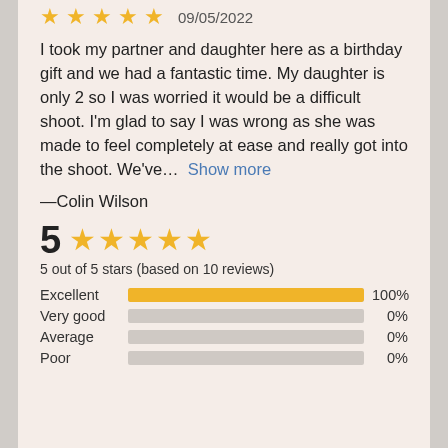[Figure (other): Five gold stars rating with date 09/05/2022]
I took my partner and daughter here as a birthday gift and we had a fantastic time. My daughter is only 2 so I was worried it would be a difficult shoot. I'm glad to say I was wrong as she was made to feel completely at ease and really got into the shoot. We've…  Show more
—Colin Wilson
[Figure (bar-chart): 5 out of 5 stars (based on 10 reviews)]
5 out of 5 stars (based on 10 reviews)